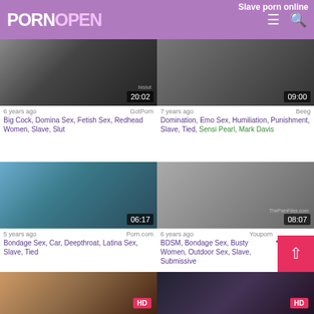Slave porn online
PORNOPEN
[Figure (screenshot): Video thumbnail 1, duration 20:02, source hislut]
6 years ago   GotPorn
Big Cock, Domina Sex, Fetish Sex, Redhead Women, Slave, Slut
[Figure (screenshot): Video thumbnail 2, duration 09:00, source Beeg]
7 years ago   Beeg
Domination, Emo Sex, Humiliation, Punishment, Slave, Tied, Sensi Pearl, Mark Davis
[Figure (screenshot): Video thumbnail 3, duration 06:17, source Porn.com]
5 years ago   Porn.com
Bondage Sex, Car, Deepthroat, Latina Sex, Slave, Tied
[Figure (screenshot): Video thumbnail 4, duration 08:07, source Youporn, watermark ThePainFiles.com]
6 years ago   Youporn
BDSM, Bondage Sex, Busty Women, Outdoor Sex, Slave, Submissive
[Figure (screenshot): Bottom left partial thumbnail with HD badge]
[Figure (screenshot): Bottom right partial thumbnail with HD badge]